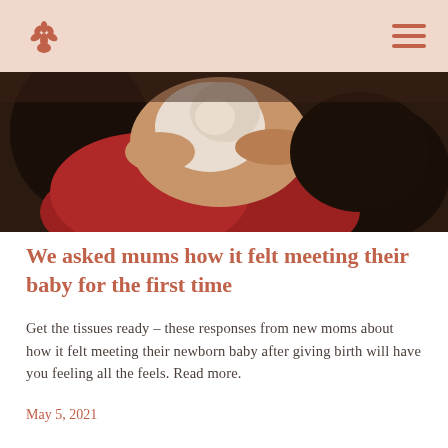[Logo] [Hamburger menu]
[Figure (photo): Close-up photo of hands holding a newborn baby covered in vernix, with a woman in a red top visible in the background.]
We asked mums how it felt meeting their baby for the first time
Get the tissues ready – these responses from new moms about how it felt meeting their newborn baby after giving birth will have you feeling all the feels. Read more.
May 5, 2021